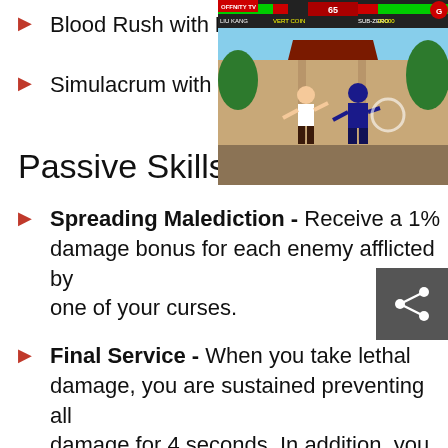Blood Rush with Pote…
Simulacrum with Res…
[Figure (screenshot): A video game screenshot showing two fighting game characters in combat, with a HUD showing health bars, a score, and player names. The game appears to be a martial arts fighting game with an outdoor stage.]
Passive Skills
Spreading Malediction - Receive a 1% damage bonus for each enemy afflicted by one of your curses.
Final Service - When you take lethal damage, you are sustained preventing all damage for 4 seconds. In addition, you heal for 10% of your Life per minion. This